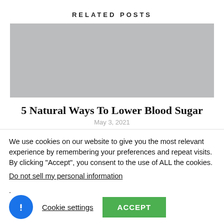RELATED POSTS
[Figure (photo): Gray placeholder image for article thumbnail]
5 Natural Ways To Lower Blood Sugar
May 3, 2021
We use cookies on our website to give you the most relevant experience by remembering your preferences and repeat visits. By clicking “Accept”, you consent to the use of ALL the cookies.
Do not sell my personal information.
Cookie settings
ACCEPT